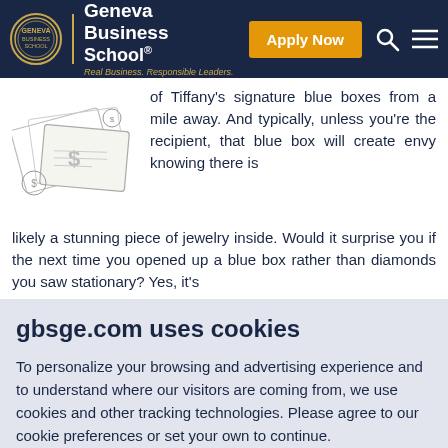Geneva Business School® Real Business. Responsible Leaders.
[Figure (illustration): Decorative illustration of money/finance themed sketch art with dollar signs and geometric shapes]
of Tiffany's signature blue boxes from a mile away. And typically, unless you're the recipient, that blue box will create envy knowing there is likely a stunning piece of jewelry inside. Would it surprise you if the next time you opened up a blue box rather than diamonds you saw stationary? Yes, it's
gbsge.com uses cookies
To personalize your browsing and advertising experience and to understand where our visitors are coming from, we use cookies and other tracking technologies. Please agree to our cookie preferences or set your own to continue.